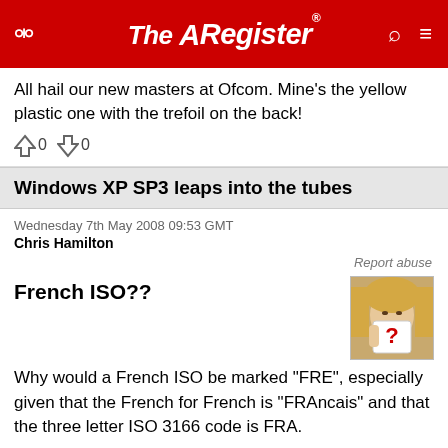The Register
All hail our new masters at Ofcom. Mine's the yellow plastic one with the trefoil on the back!
0  0
Windows XP SP3 leaps into the tubes
Wednesday 7th May 2008 09:53 GMT
Chris Hamilton
Report abuse
French ISO??
[Figure (photo): Thumbnail photo of a blonde woman holding a question mark card to her face]
Why would a French ISO be marked "FRE", especially given that the French for French is "FRAncais" and that the three letter ISO 3166 code is FRA.
Avant de taper, engager cerveau!
Being a lawyer and having a nice rich (the) Paris Hilto...